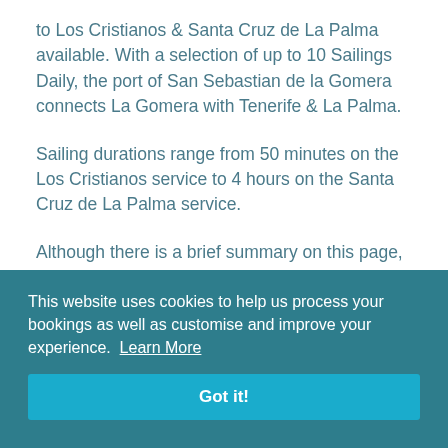to Los Cristianos & Santa Cruz de La Palma available. With a selection of up to 10 Sailings Daily, the port of San Sebastian de la Gomera connects La Gomera with Tenerife & La Palma.
Sailing durations range from 50 minutes on the Los Cristianos service to 4 hours on the Santa Cruz de La Palma service.
Although there is a brief summary on this page, as sailing information can vary based on time of year we'd advise you to get live sailing times and prices in our San Sebastian de la Gomera fare search.
This website uses cookies to help us process your bookings as well as customise and improve your experience. Learn More
Got it!